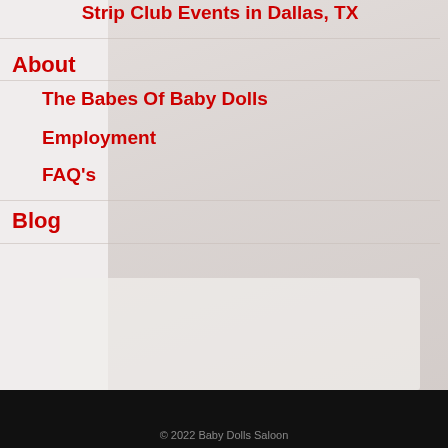Strip Club Events in Dallas, TX
About
The Babes Of Baby Dolls
Employment
FAQ's
Blog
[Figure (logo): Connect With Us On Facebook banner with blue gradient background showing 'CONNECT WITH US ON facebook.' text in white]
© 2022 Baby Dolls Saloon